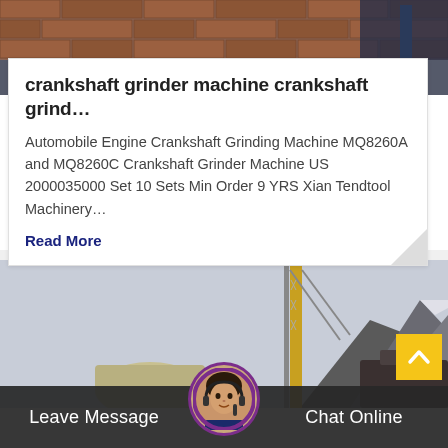[Figure (photo): Industrial machinery/grinding equipment against brick background, partially visible at top of page]
crankshaft grinder machine crankshaft grind…
Automobile Engine Crankshaft Grinding Machine MQ8260A and MQ8260C Crankshaft Grinder Machine US 2000035000 Set 10 Sets Min Order 9 YRS Xian Tendtool Machinery…
Read More
[Figure (photo): Large crane or industrial lifting equipment against a mountain backdrop with overcast skies]
[Figure (photo): Customer service representative avatar with headset, circular framed photo]
Leave Message
Chat Online